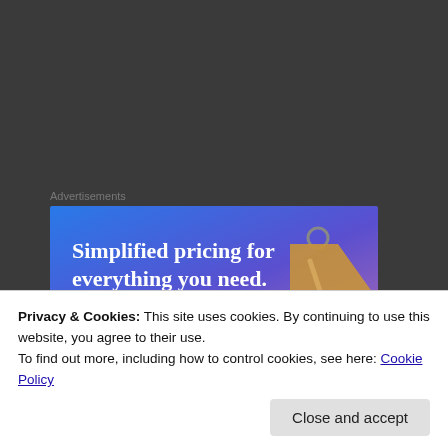Advertisements
[Figure (illustration): Advertisement banner with gradient blue-purple background showing a price tag image and text 'Simplified pricing for everything you need.' with a pink 'Build Your Website' button]
There are several games that have done a great job of getting a rise out of gamers. One game that
Privacy & Cookies: This site uses cookies. By continuing to use this website, you agree to their use.
To find out more, including how to control cookies, see here: Cookie Policy
anything about the game other than it was free but